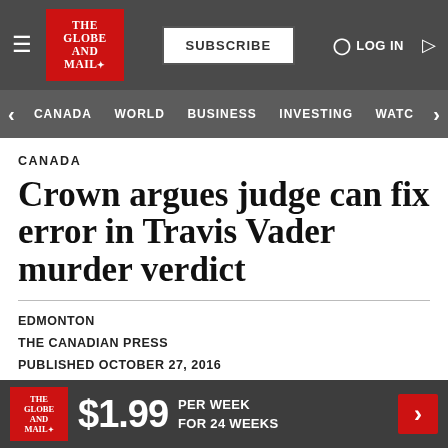The Globe and Mail — SUBSCRIBE | LOG IN
CANADA | WORLD | BUSINESS | INVESTING | WATC
CANADA
Crown argues judge can fix error in Travis Vader murder verdict
EDMONTON
THE CANADIAN PRESS
PUBLISHED OCTOBER 27, 2016
This article was published more than 5 years ago. Some
$1.99 PER WEEK FOR 24 WEEKS